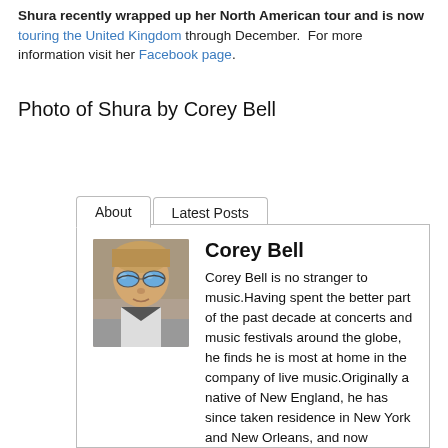Shura recently wrapped up her North American tour and is now touring the United Kingdom through December.  For more information visit her Facebook page.
Photo of Shura by Corey Bell
About | Latest Posts
[Figure (photo): Headshot photo of Corey Bell wearing reflective sunglasses, seated in a car]
Corey Bell
Corey Bell is no stranger to music.Having spent the better part of the past decade at concerts and music festivals around the globe, he finds he is most at home in the company of live music.Originally a native of New England, he has since taken residence in New York and New Orleans, and now resides in the San Francisco Bay Area.He achieved his Bachelor of Arts from Goddard College in Vermont via an undergraduate study entitled "Sonic Highways: Musical Immersion on the Roads of America," in which he explores the intersection between music and...